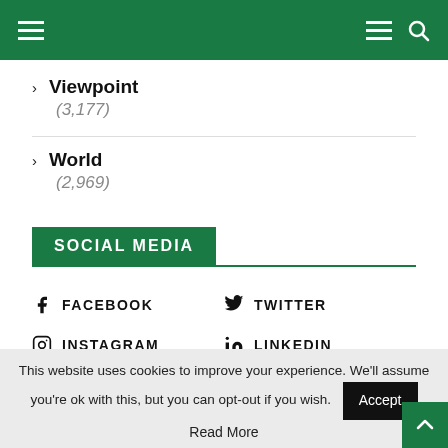Navigation header with menu and search icons
> Viewpoint (3,177)
> World (2,969)
SOCIAL MEDIA
FACEBOOK
TWITTER
INSTAGRAM
LINKEDIN
YOUTUBE
EMAIL
This website uses cookies to improve your experience. We'll assume you're ok with this, but you can opt-out if you wish. Accept Read More